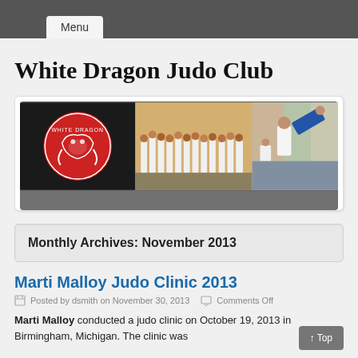Menu
White Dragon Judo Club
[Figure (photo): Banner image for White Dragon Judo Club showing the club logo (white dragon on red circle on black background) on the left, a group photo of judo students in white uniforms in the center, and action shots of judo throws on the right.]
Monthly Archives: November 2013
Marti Malloy Judo Clinic 2013
Posted by dsmith on November 30, 2013    Comments Off
Marti Malloy conducted a judo clinic on October 19, 2013 in Birmingham, Michigan. The clinic was